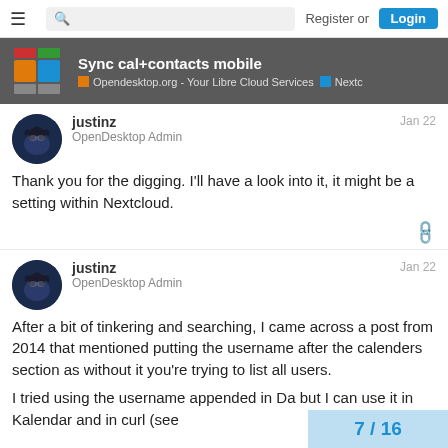Register or Login
Sync cal+contacts mobile
Opendesktop.org - Your Libre Cloud Services · Nextc
justinz
OpenDesktop Admin
Jan 22
Thank you for the digging. I'll have a look into it, it might be a setting within Nextcloud.
justinz
OpenDesktop Admin
Jan 22
After a bit of tinkering and searching, I came across a post from 2014 that mentioned putting the username after the calenders section as without it you're trying to list all users.
I tried using the username appended in Da but I can use it in Kalendar and in curl (see
7 / 16